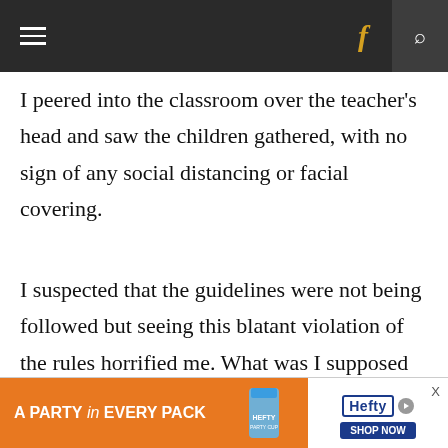≡  f  🔍
I peered into the classroom over the teacher's head and saw the children gathered, with no sign of any social distancing or facial covering.
I suspected that the guidelines were not being followed but seeing this blatant violation of the rules horrified me. What was I supposed to do now with my son? He was required to attend yeshiva, whether it felt safe to me or not. If I chose to keep him home, my ex-husband would use it as leverage and surely come after me
[Figure (screenshot): Hefty advertisement banner: orange background with 'A PARTY in EVERY PACK' text, Hefty cups product image, and Hefty logo with SHOP NOW button]